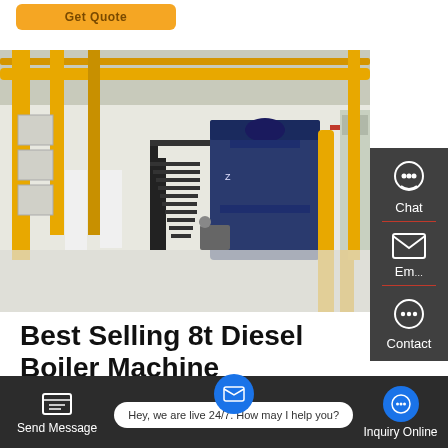[Figure (photo): Industrial boiler room with yellow pipes and a large blue boiler unit, black metal staircase, white walls, white flooring.]
Best Selling 8t Diesel Boiler Machine Industrial Ukraine
Boiler Machine 20 Ton Lithuania - hhredcross.org. 4 tons vacuum
Send Message   Hey, we are live 24/7. How may I help you?   Inquiry Online